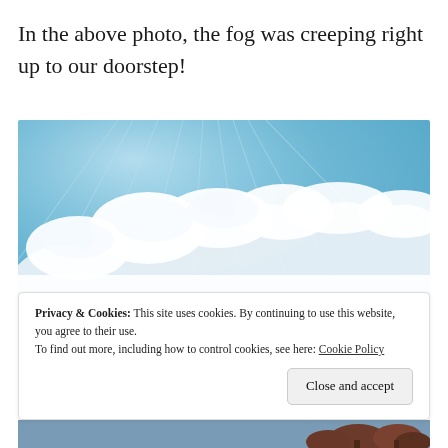In the above photo, the fog was creeping right up to our doorstep!
[Figure (photo): Photo of blue sky with large white cumulus clouds and sun rays visible through the blue sky portion. Trees with dark reddish foliage are barely visible at the bottom edge.]
Privacy & Cookies: This site uses cookies. By continuing to use this website, you agree to their use.
To find out more, including how to control cookies, see here: Cookie Policy
[Figure (photo): Partial bottom strip of a photo showing trees with dark reddish-brown foliage against a sky background.]